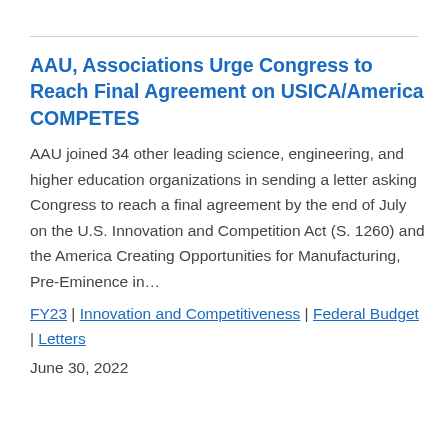AAU, Associations Urge Congress to Reach Final Agreement on USICA/America COMPETES
AAU joined 34 other leading science, engineering, and higher education organizations in sending a letter asking Congress to reach a final agreement by the end of July on the U.S. Innovation and Competition Act (S. 1260) and the America Creating Opportunities for Manufacturing, Pre-Eminence in…
FY23 | Innovation and Competitiveness | Federal Budget | Letters
June 30, 2022